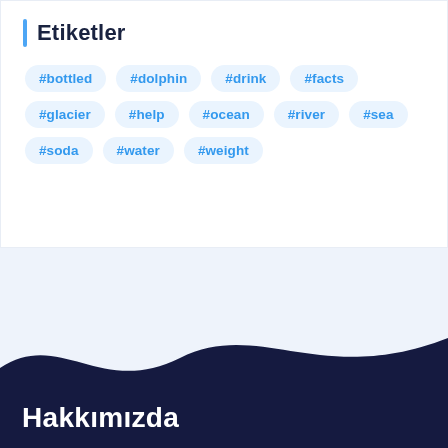Etiketler
#bottled
#dolphin
#drink
#facts
#glacier
#help
#ocean
#river
#sea
#soda
#water
#weight
[Figure (illustration): Dark navy wave shape at bottom of page with light blue background above]
Hakkımızda